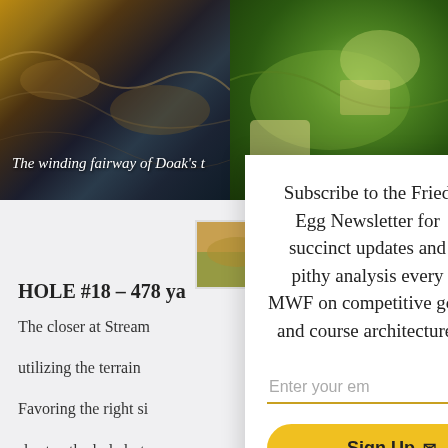[Figure (photo): Aerial view of a winding golf fairway — left side shows sandy/earthy links-style terrain, right side shows lush green fairway with bunkers]
The winding fairway of Doak's t
[Figure (photo): Small thumbnail image of a golf course landscape]
HOLE #18 – 478 ya
The closer at Stream
utilizing the terrain
Favoring the right si
shorten the hole but
Subscribe to the Fried Egg Newsletter for succinct updates and pithy analysis every MWF on competitive golf and course architecture.
Enter your em
Sign Up